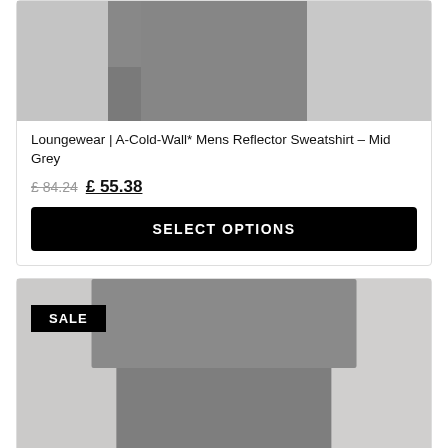[Figure (photo): Product photo of A-Cold-Wall* Mens Reflector Sweatshirt in Mid Grey — cropped view showing torso and legs of a male model wearing grey sweatshirt and grey jogger pants]
Loungewear | A-Cold-Wall* Mens Reflector Sweatshirt – Mid Grey
£ 84.24  £ 55.38
SELECT OPTIONS
[Figure (photo): Product photo showing a male model wearing a grey sweatshirt and grey jogger/cargo pants — second sale product listing with SALE badge]
SALE